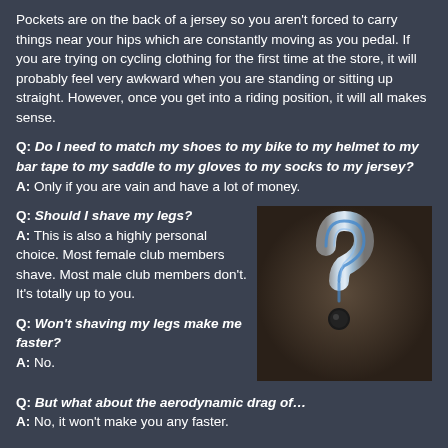Pockets are on the back of a jersey so you aren't forced to carry things near your hips which are constantly moving as you pedal. If you are trying on cycling clothing for the first time at the store, it will probably feel very awkward when you are standing or sitting up straight. However, once you get into a riding position, it will all makes sense.
Q: Do I need to match my shoes to my bike to my helmet to my bar tape to my saddle to my gloves to my socks to my jersey?
A: Only if you are vain and have a lot of money.
Q: Should I shave my legs?
A: This is also a highly personal choice. Most female club members shave. Most male club members don't. It's totally up to you.
[Figure (photo): A 3D metallic question mark symbol on a dark background]
Q: Won't shaving my legs make me faster?
A: No.
Q: But what about the aerodynamic drag of...
A: No, it won't make you any faster.